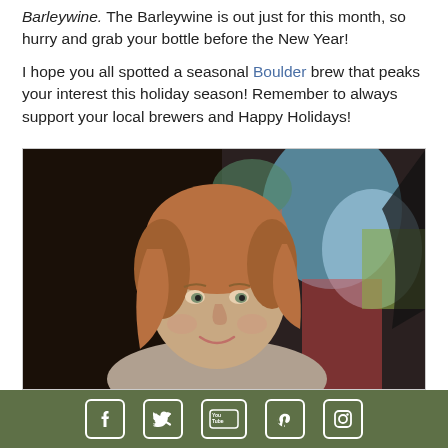Barleywine. The Barleywine is out just for this month, so hurry and grab your bottle before the New Year!

I hope you all spotted a seasonal Boulder brew that peaks your interest this holiday season! Remember to always support your local brewers and Happy Holidays!
[Figure (photo): A woman with auburn hair smiling in front of a colorful graffiti wall]
Facebook, Twitter, YouTube, Pinterest, Instagram social media icons